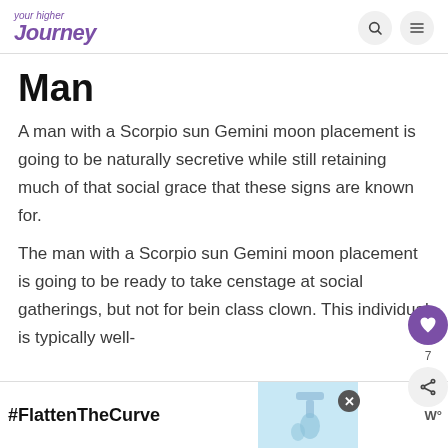your higher journey
Man
A man with a Scorpio sun Gemini moon placement is going to be naturally secretive while still retaining much of that social grace that these signs are known for.
The man with a Scorpio sun Gemini moon placement is going to be ready to take center stage at social gatherings, but not for being the class clown. This individual is typically well-versed...
[Figure (infographic): #FlattenTheCurve public health ad banner with hand washing image and wellness logo]